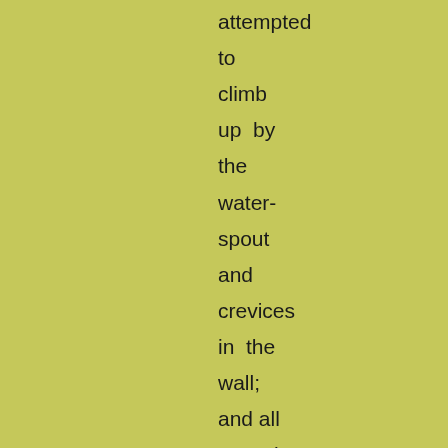attempted
to
climb
up  by
the
water-
spout
and
crevices
in  the
wall;
and all
waved
to  and
fro,  in
the
darkness
beneath,
like  a